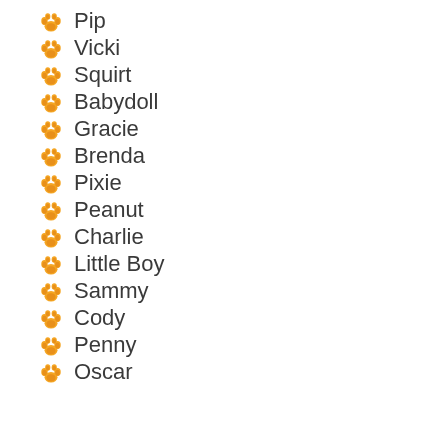Pip
Vicki
Squirt
Babydoll
Gracie
Brenda
Pixie
Peanut
Charlie
Little Boy
Sammy
Cody
Penny
Oscar